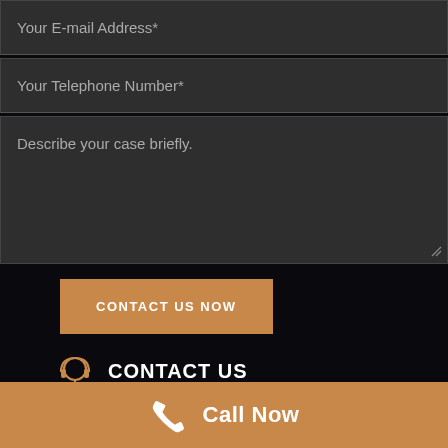Your E-mail Address*
Your Telephone Number*
Describe your case briefly.
CONTACT US NOW
CONTACT US
416-816-4848
Call Now